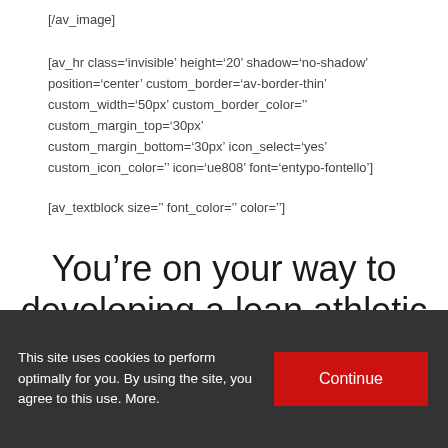[/av_image]
[av_hr class='invisible' height='20' shadow='no-shadow' position='center' custom_border='av-border-thin' custom_width='50px' custom_border_color='' custom_margin_top='30px' custom_margin_bottom='30px' icon_select='yes' custom_icon_color='' icon='ue808' font='entypo-fontello']
[av_textblock size='' font_color='' color='']
You're on your way to developing a lean athletic
This site uses cookies to perform optimally for you. By using the site, you agree to this use. More.